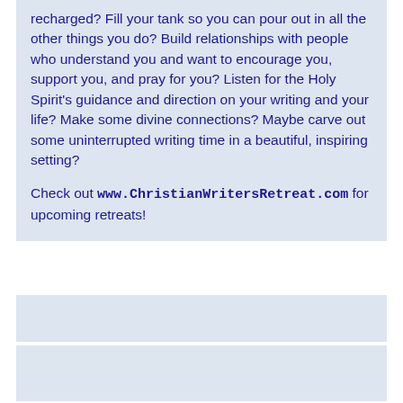recharged? Fill your tank so you can pour out in all the other things you do? Build relationships with people who understand you and want to encourage you, support you, and pray for you? Listen for the Holy Spirit's guidance and direction on your writing and your life? Make some divine connections? Maybe carve out some uninterrupted writing time in a beautiful, inspiring setting?

Check out www.ChristianWritersRetreat.com for upcoming retreats!